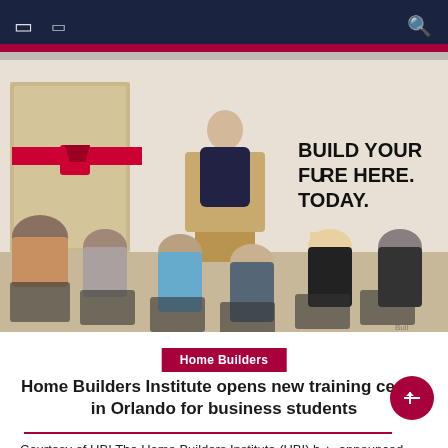☰
[Figure (photo): Indoor event at a training facility. A man in a dark suit speaks at a podium. Attendees sit in chairs with their backs to the camera. A red ribbon is visible on the left wall, and a sign reads BUILD YOUR FUTURE HERE. TODAY. on the right wall.]
Home Builders
Home Builders Institute opens new training center in Orlando for business students
Courtesy of HBI The Home Builders Institute (HBI) has announced the opening of its new Orlando, Florida-based